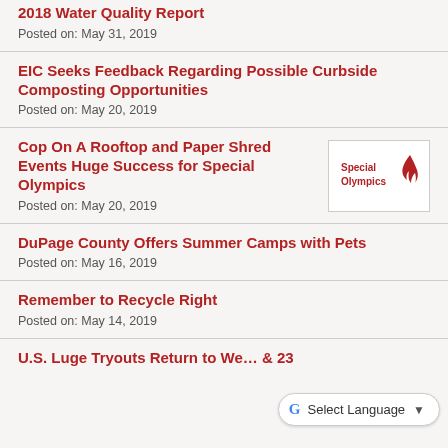2018 Water Quality Report
Posted on: May 31, 2019
EIC Seeks Feedback Regarding Possible Curbside Composting Opportunities
Posted on: May 20, 2019
Cop On A Rooftop and Paper Shred Events Huge Success for Special Olympics
[Figure (logo): Special Olympics logo with red flame/torch icon and text 'Special Olympics']
Posted on: May 20, 2019
DuPage County Offers Summer Camps with Pets
Posted on: May 16, 2019
Remember to Recycle Right
Posted on: May 14, 2019
U.S. Luge Tryouts Return to We… & 23
Posted on: May 10, 2019